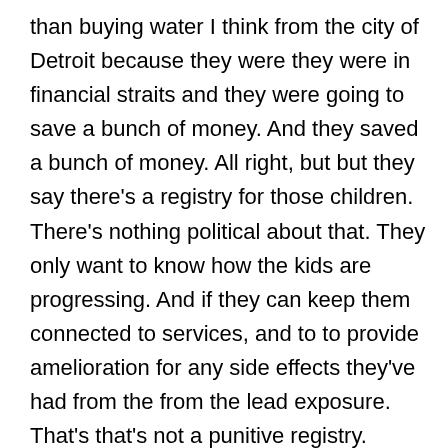than buying water I think from the city of Detroit because they were they were in financial straits and they were going to save a bunch of money. And they saved a bunch of money. All right, but but they say there's a registry for those children. There's nothing political about that. They only want to know how the kids are progressing. And if they can keep them connected to services, and to to provide amelioration for any side effects they've had from the from the lead exposure. That's that's not a punitive registry.
Paul 45:40
But what the sex offenders that pfrs are forced to deal with that is a very debilitating and punitive registry and most cases